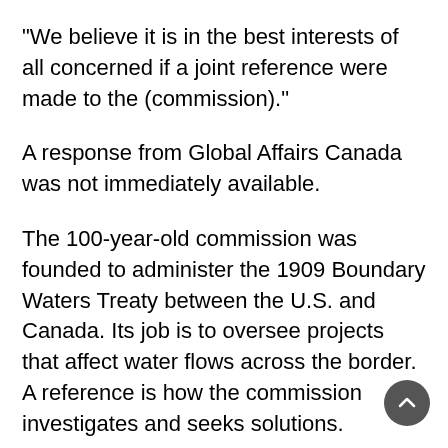“We believe it is in the best interests of all concerned if a joint reference were made to the (commission).”
A response from Global Affairs Canada was not immediately available.
The 100-year-old commission was founded to administer the 1909 Boundary Waters Treaty between the U.S. and Canada. Its job is to oversee projects that affect water flows across the border. A reference is how the commission investigates and seeks solutions.
Ottawa has already turned down one request for a reference into selenium in the Elk Valley from the Ktunaxa First Nation in B.C., made in December.